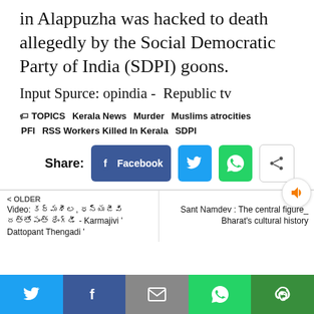in Alappuzha was hacked to death allegedly by the Social Democratic Party of India (SDPI) goons.
Input Spurce: opindia -  Republic tv
TOPICS  Kerala News  Murder  Muslims atrocities  PFI  RSS Workers Killed In Kerala  SDPI
[Figure (screenshot): Share buttons: Facebook, Twitter, WhatsApp, and generic share]
< OLDER
Video: కర్మశీల, ధన్యజీవి దత్తోపంత్ థేంగ్డీ - Karmajivi ' Dattopant Thengadi '
NEWER
Sant Namdev : The central figure_ Bharat's cultural history
[Figure (screenshot): Bottom navigation bar with Twitter, Facebook, Email, WhatsApp, and copy icons]